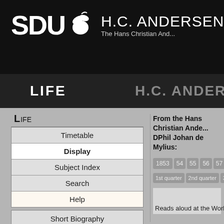SDU H.C. ANDERSEN The Hans Christian And...
LIFE
H.C. ANDER...
Life
Timetable
Display
Subject Index
Search
Help
Short Biography
Short Chronology
Works
From the Hans Christian Ande... DPhil Johan de Mylius:
1853  54  55  56  57  Index
1st quarter  2nd quarter  3rd q...
Reads aloud at the Workers'...